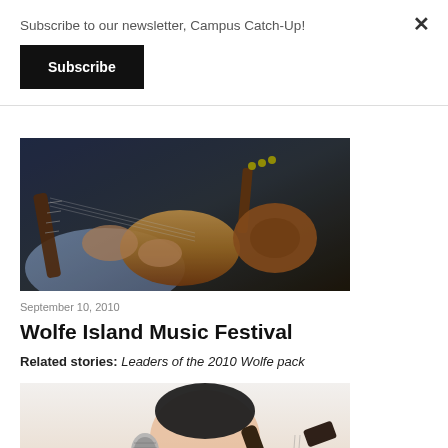Subscribe to our newsletter, Campus Catch-Up!
Subscribe
[Figure (photo): Two people playing guitars, close-up of hands on guitar fretboard and strings, dark background]
September 10, 2010
Wolfe Island Music Festival
Related stories: Leaders of the 2010 Wolfe pack
[Figure (photo): Young man singing into a microphone while playing a Fender guitar, light background, wearing a light pink shirt]